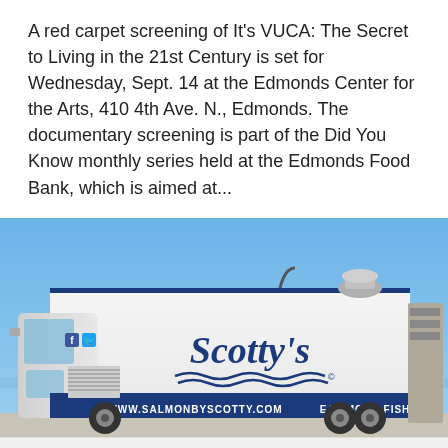A red carpet screening of It's VUCA: The Secret to Living in the 21st Century is set for Wednesday, Sept. 14 at the Edmonds Center for the Arts, 410 4th Ave. N., Edmonds. The documentary screening is part of the Did You Know monthly series held at the Edmonds Food Bank, which is aimed at...
[Figure (photo): A white food truck branded 'Scotty's' with the website www.salmonbyscotty.com and the slogan 'EAT MORE FISH' printed on the side, parked outdoors under a blue sky.]